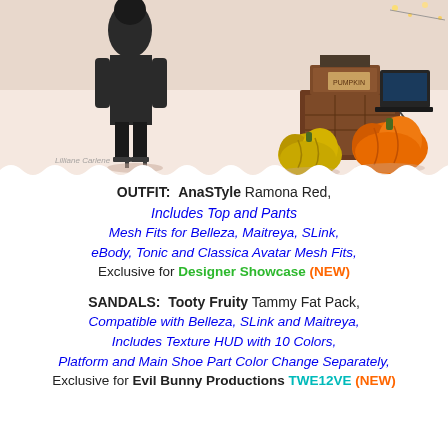[Figure (photo): Virtual world scene with a figure in a dark outfit and heels on the left, and wooden crates/boxes with two pumpkins (orange/yellow-green) on the right, on a pink/white background. Watermark text 'Lilliane Carlene' in bottom left.]
OUTFIT: AnaSTyle Ramona Red, Includes Top and Pants Mesh Fits for Belleza, Maitreya, SLink, eBody, Tonic and Classica Avatar Mesh Fits, Exclusive for Designer Showcase (NEW)
SANDALS: Tooty Fruity Tammy Fat Pack, Compatible with Belleza, SLink and Maitreya, Includes Texture HUD with 10 Colors, Platform and Main Shoe Part Color Change Separately, Exclusive for Evil Bunny Productions TWE12VE (NEW)